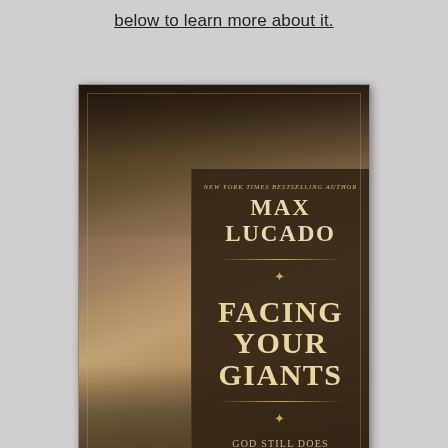below to learn more about it.
[Figure (photo): Book cover of 'Facing Your Giants' by Max Lucado. The cover shows a hand reaching down to pick up a stone, with river rocks in the foreground and a blurred background including a figure with a sling. A dark brown panel on the right side displays the author name MAX LUCADO and the title FACING YOUR GIANTS with subtitle 'God Still Does the Impossible'. Author is identified as New York Times Bestselling Author.]